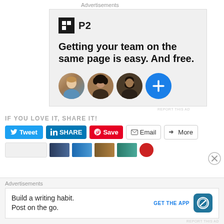Advertisements
[Figure (infographic): P2 advertisement with logo, headline 'Getting your team on the same page is easy. And free.' and three user avatar circles plus a blue plus button]
REPORT THIS AD
IF YOU LOVE IT, SHARE IT!
[Figure (other): Social share buttons: Tweet, SHARE (LinkedIn), Save (Pinterest), Email, More]
[Figure (other): Related content thumbnails row]
Advertisements
[Figure (infographic): WordPress mobile app advertisement: 'Build a writing habit. Post on the go.' with GET THE APP button and WordPress icon]
REPORT THIS AD